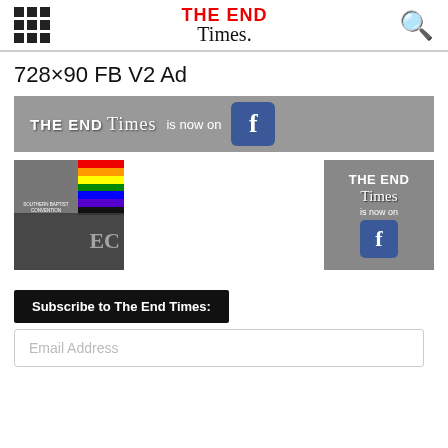THE END Times. (navigation bar with grid menu and search icon)
728×90 FB V2 Ad
[Figure (infographic): Banner ad: THE END Times is now on Facebook]
[Figure (photo): Thumbnail showing church building with Southern Baptist Convention sign and rainbow flag overlay with logo]
[Figure (infographic): Side ad: THE END Times is now on Facebook]
Subscribe to The End Times:
Email Address